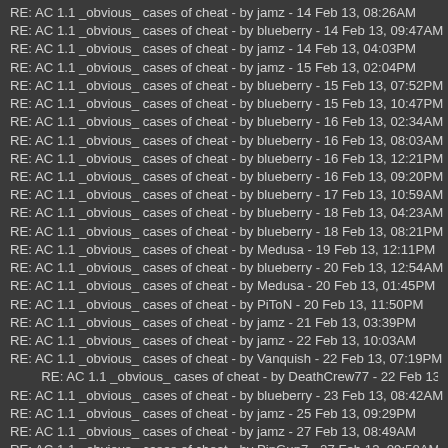RE: AC 1.1 _obvious_ cases of cheat - by jamz - 14 Feb 13, 08:26AM
RE: AC 1.1 _obvious_ cases of cheat - by blueberry - 14 Feb 13, 09:47AM
RE: AC 1.1 _obvious_ cases of cheat - by jamz - 14 Feb 13, 04:03PM
RE: AC 1.1 _obvious_ cases of cheat - by jamz - 15 Feb 13, 02:04PM
RE: AC 1.1 _obvious_ cases of cheat - by blueberry - 15 Feb 13, 07:52PM
RE: AC 1.1 _obvious_ cases of cheat - by blueberry - 15 Feb 13, 10:47PM
RE: AC 1.1 _obvious_ cases of cheat - by blueberry - 16 Feb 13, 02:34AM
RE: AC 1.1 _obvious_ cases of cheat - by blueberry - 16 Feb 13, 08:03AM
RE: AC 1.1 _obvious_ cases of cheat - by blueberry - 16 Feb 13, 12:21PM
RE: AC 1.1 _obvious_ cases of cheat - by blueberry - 16 Feb 13, 09:20PM
RE: AC 1.1 _obvious_ cases of cheat - by blueberry - 17 Feb 13, 10:59AM
RE: AC 1.1 _obvious_ cases of cheat - by blueberry - 18 Feb 13, 04:23AM
RE: AC 1.1 _obvious_ cases of cheat - by blueberry - 18 Feb 13, 08:21PM
RE: AC 1.1 _obvious_ cases of cheat - by Medusa - 19 Feb 13, 12:11PM
RE: AC 1.1 _obvious_ cases of cheat - by blueberry - 20 Feb 13, 12:54AM
RE: AC 1.1 _obvious_ cases of cheat - by Medusa - 20 Feb 13, 01:45PM
RE: AC 1.1 _obvious_ cases of cheat - by PiToN - 20 Feb 13, 11:50PM
RE: AC 1.1 _obvious_ cases of cheat - by jamz - 21 Feb 13, 03:39PM
RE: AC 1.1 _obvious_ cases of cheat - by jamz - 22 Feb 13, 10:03AM
RE: AC 1.1 _obvious_ cases of cheat - by Vanquish - 22 Feb 13, 07:19PM
RE: AC 1.1 _obvious_ cases of cheat - by DeathCrew77 - 22 Feb 13, 08:13P
RE: AC 1.1 _obvious_ cases of cheat - by blueberry - 23 Feb 13, 08:42AM
RE: AC 1.1 _obvious_ cases of cheat - by jamz - 25 Feb 13, 09:29PM
RE: AC 1.1 _obvious_ cases of cheat - by jamz - 27 Feb 13, 08:49AM
RE: AC 1.1 _obvious_ cases of cheat - by PinGun7 - 27 Feb 13, 09:58AM